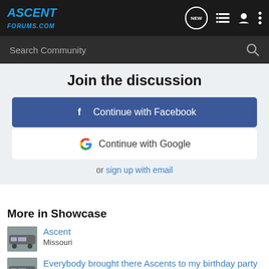ASCENT FORUMS.COM
Search Community
Join the discussion
Continue with Facebook
Continue with Google
or sign up with email
More in Showcase
Ascent
Missouri
Everybody brought there Ascents to my birthday party